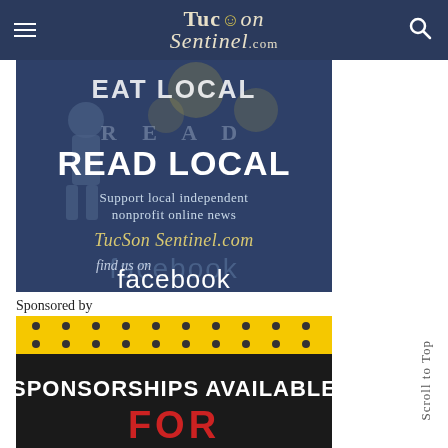TucSon Sentinel.com
[Figure (advertisement): Tucson Sentinel ad: EAT LOCAL, READ LOCAL, Support local independent nonprofit online news, TucSon Sentinel.com, find us on facebook]
Sponsored by
[Figure (advertisement): Sponsorships Available For - banner ad image on marquee sign]
Scroll to Top